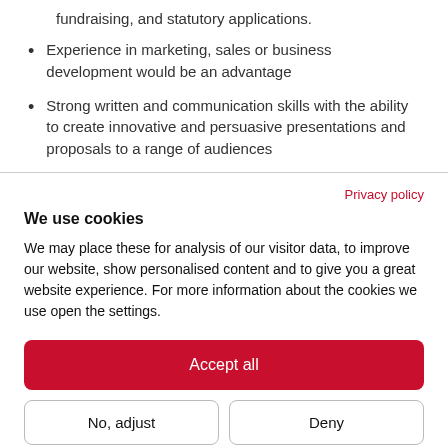fundraising, and statutory applications.
Experience in marketing, sales or business development would be an advantage
Strong written and communication skills with the ability to create innovative and persuasive presentations and proposals to a range of audiences
Privacy policy
We use cookies
We may place these for analysis of our visitor data, to improve our website, show personalised content and to give you a great website experience. For more information about the cookies we use open the settings.
Accept all
No, adjust
Deny